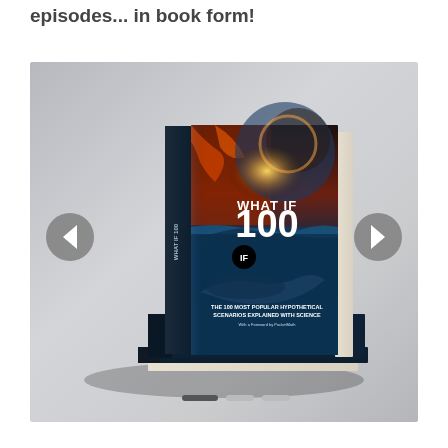episodes... in book form!
[Figure (photo): A stack of three copies of the book 'What If 100' showing the front cover with dramatic sci-fi imagery. The cover says 'WHAT IF 100' and 'THE 100 MOST POPULAR HYPOTHETICAL SCENARIOS EXPLAINED WITH SCIENCE'. There are navigation arrows on the left and right sides of the image, and three pagination indicator dots at the bottom.]